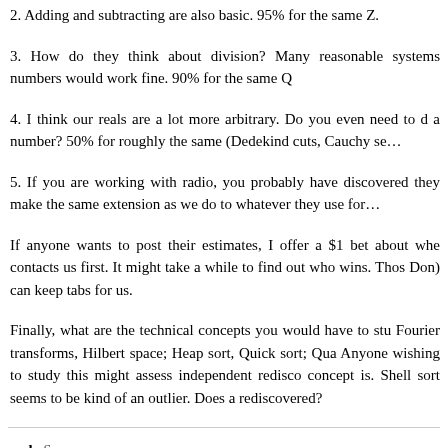2. Adding and subtracting are also basic. 95% for the same Z.
3. How do they think about division? Many reasonable systems numbers would work fine. 90% for the same Q
4. I think our reals are a lot more arbitrary. Do you even need to d a number? 50% for roughly the same (Dedekind cuts, Cauchy se…
5. If you are working with radio, you probably have discovered they make the same extension as we do to whatever they use for…
If anyone wants to post their estimates, I offer a $1 bet about whe contacts us first. It might take a while to find out who wins. Thos Don) can keep tabs for us.
Finally, what are the technical concepts you would have to stu Fourier transforms, Hilbert space; Heap sort, Quick sort; Qua Anyone wishing to study this might assess independent redisco concept is. Shell sort seems to be kind of an outlier. Does a rediscovered?
cody Says:
Comment #83 January 27th, 2008 at 2:46 am